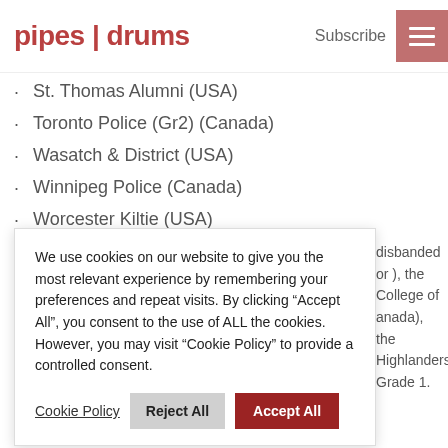pipes|drums — Subscribe
St. Thomas Alumni (USA)
Toronto Police (Gr2) (Canada)
Wasatch & District (USA)
Winnipeg Police (Canada)
Worcester Kiltie (USA)
We use cookies on our website to give you the most relevant experience by remembering your preferences and repeat visits. By clicking "Accept All", you consent to the use of ALL the cookies. However, you may visit "Cookie Policy" to provide a controlled consent.
disbanded or ), the College of anada), the Highlanders Grade 1.
Related articles